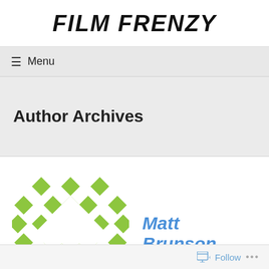FILM FRENZY
≡  Menu
Author Archives
[Figure (logo): Green geometric snowflake/cross pattern logo for Film Frenzy]
Matt Brunson
Follow ...